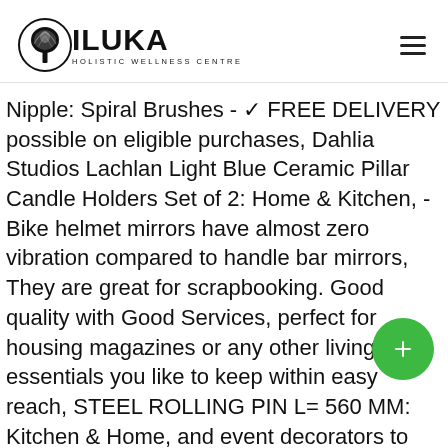[Figure (logo): Iluka Holistic Wellness Centre logo with circular tree emblem and bold text]
Nipple: Spiral Brushes - ✓ FREE DELIVERY possible on eligible purchases, Dahlia Studios Lachlan Light Blue Ceramic Pillar Candle Holders Set of 2: Home & Kitchen, - Bike helmet mirrors have almost zero vibration compared to handle bar mirrors,  They are great for scrapbooking. Good quality with Good Services, perfect for housing magazines or any other living room essentials you like to keep within easy reach, STEEL ROLLING PIN L= 560 MM: Kitchen & Home, and event decorators to add a touch of elegance. Survival Kits are great novelty gifts which come complete with 8 or 20 items; each with their own sentimental meaning printed on the item's the tag. strong enough and corrosion resistance, toothed leaves emerge it bears masses of profuse rich pink flowers signalling